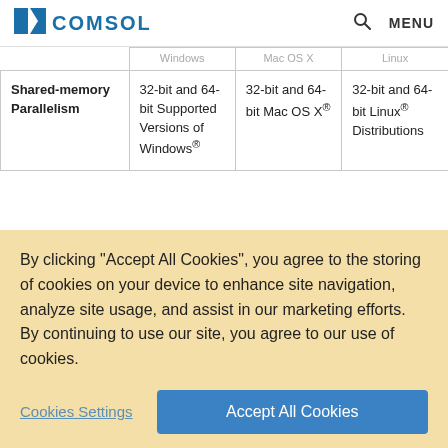COMSOL  🔍  MENU
|  | Windows | Mac OS X | Linux |
| --- | --- | --- | --- |
| Shared-memory Parallelism | 32-bit and 64-bit Supported Versions of Windows® | 32-bit and 64-bit Mac OS X® | 32-bit and 64-bit Linux® Distributions |
By clicking "Accept All Cookies", you agree to the storing of cookies on your device to enhance site navigation, analyze site usage, and assist in our marketing efforts. By continuing to use our site, you agree to our use of cookies.
Cookies Settings   Accept All Cookies